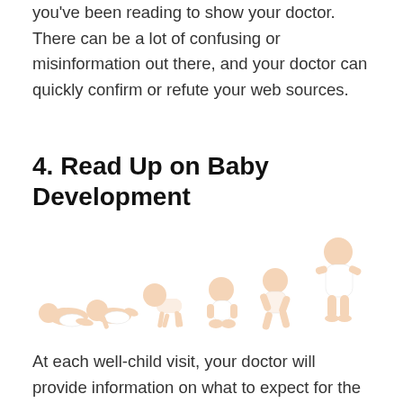you've been reading to show your doctor. There can be a lot of confusing or misinformation out there, and your doctor can quickly confirm or refute your web sources.
4. Read Up on Baby Development
[Figure (illustration): A sequence of babies showing developmental stages from newborn lying flat, to crawling, to sitting, to standing, shown left to right with increasing age and size.]
At each well-child visit, your doctor will provide information on what to expect for the next stage of your baby's life. Read through these development